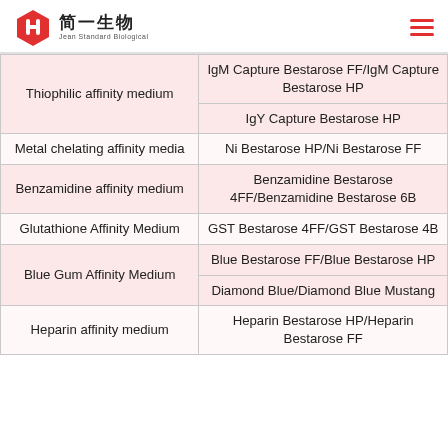简一生物 Jean Standard Biological
| Category | Products |
| --- | --- |
| Thiophilic affinity medium | IgM Capture Bestarose FF/IgM Capture Bestarose HP |
| Thiophilic affinity medium | IgY Capture Bestarose HP |
| Metal chelating affinity media | Ni Bestarose HP/Ni Bestarose FF |
| Benzamidine affinity medium | Benzamidine Bestarose 4FF/Benzamidine Bestarose 6B |
| Glutathione Affinity Medium | GST Bestarose 4FF/GST Bestarose 4B |
| Blue Gum Affinity Medium | Blue Bestarose FF/Blue Bestarose HP |
| Blue Gum Affinity Medium | Diamond Blue/Diamond Blue Mustang |
| Heparin affinity medium | Heparin Bestarose HP/Heparin Bestarose FF |